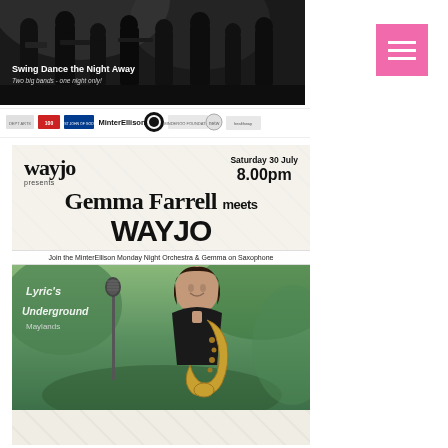[Figure (photo): Black and white photo of a big band/jazz orchestra performing on stage, musicians with instruments]
Swing Dance the Night Away
Two big bands - one night only!
[Figure (logo): Row of sponsor logos including MinterEllison, St John of God, Minderoo Foundation, and others]
[Figure (infographic): Event poster for wayjo presents Gemma Farrell meets WAYJO, Saturday 30 July 8.00pm, at Lyric's Underground Maylands, with woman holding saxophone]
wayjo presents
Saturday 30 July
8.00pm
Gemma Farrell meets WAYJO
Join the MinterEllison Monday Night Orchestra & Gemma on Saxophone
LYRIC'S
UNDERGROUND
Maylands